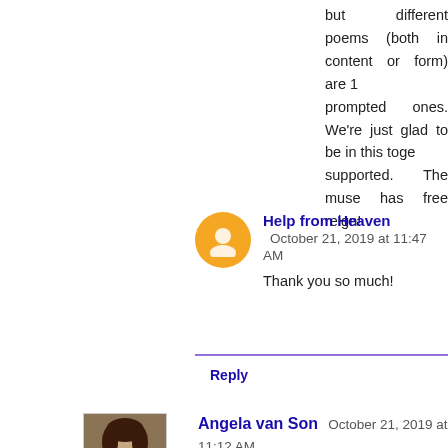but different poems (both in content or form) are 1 prompted ones. We're just glad to be in this toge supported. The muse has free reign!
Help from Heaven  October 21, 2019 at 11:47 AM
Thank you so much!
Reply
Angela van Son  October 21, 2019 at 11:12 AM
My entry today is again for poet Reuben Woolley, who's h upon a time there was a NaPoWriMo or #OctPoWrimo to rec your own poems. That was a HUGE stretch for me, but I'm g I did that again. Writing a poem especially for Reuben was to
https://unassortedstories.wordpress.com/2019/10/21/get-well
Reply